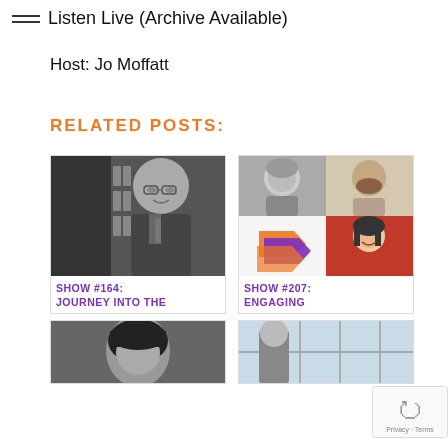Listen Live (Archive Available)
Host: Jo Moffatt
RELATED POSTS:
[Figure (photo): Black and white photo of a bald man wearing glasses and a suit, standing in front of a wall with partial text visible]
SHOW #164: JOURNEY INTO THE
[Figure (photo): Collage of two headshots (man with grey hair, man with beard) and a logo (orange/purple arrow shape) and a woman smiling]
SHOW #207: ENGAGING
[Figure (photo): Black and white photo of a person with dark hair, partially visible]
[Figure (photo): Photo of a man partially visible in front of a building with glass doors]